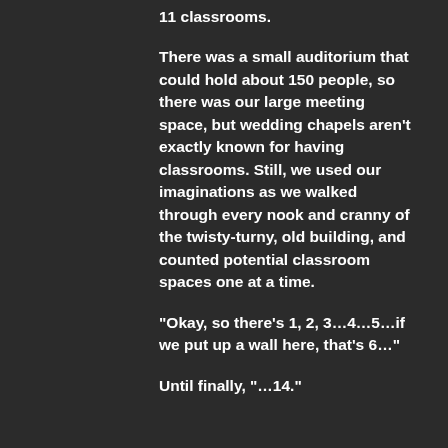11 classrooms.
There was a small auditorium that could hold about 150 people, so there was our large meeting space, but wedding chapels aren't exactly known for having classrooms. Still, we used our imaginations as we walked through every nook and cranny of the twisty-turny, old building, and counted potential classroom spaces one at a time.
"Okay, so there's 1, 2, 3…4…5…if we put up a wall here, that's 6…"
Until finally, "…14."